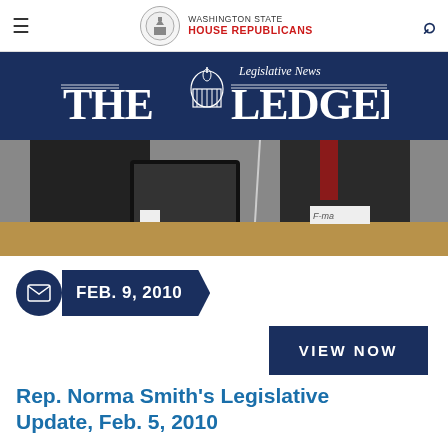Washington State House Republicans
[Figure (logo): The Ledger — Legislative News banner with capitol dome icon on dark navy background]
[Figure (photo): Two men in suits seated at a legislative hearing desk with a computer monitor between them]
FEB. 9, 2010
VIEW NOW
Rep. Norma Smith's Legislative Update, Feb. 5, 2010